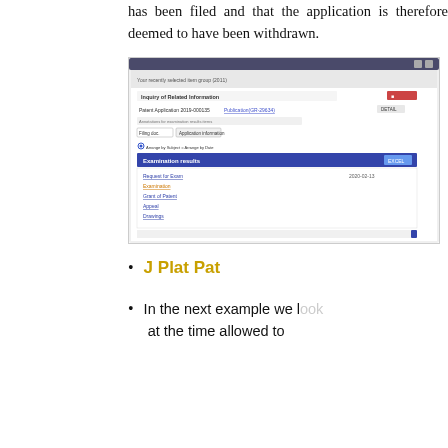has been filed and that the application is therefore deemed to have been withdrawn.
[Figure (screenshot): Screenshot of a patent database inquiry interface showing 'Inquiry of Related Information' with a patent application search result listing, including examination results section with links such as 'Request for Exam', 'Examination', 'Grant of Patent', 'Appeal', 'Drawings'.]
J Plat Pat
In the next example we look at the time allowed to